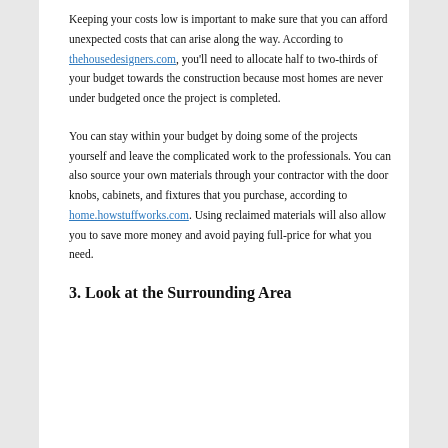Keeping your costs low is important to make sure that you can afford unexpected costs that can arise along the way. According to thehousedesigners.com, you'll need to allocate half to two-thirds of your budget towards the construction because most homes are never under budgeted once the project is completed.
You can stay within your budget by doing some of the projects yourself and leave the complicated work to the professionals. You can also source your own materials through your contractor with the door knobs, cabinets, and fixtures that you purchase, according to home.howstuffworks.com. Using reclaimed materials will also allow you to save more money and avoid paying full-price for what you need.
3. Look at the Surrounding Area